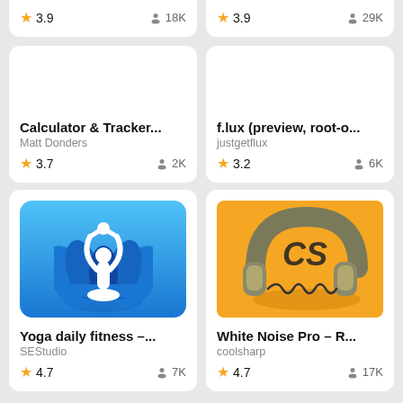[Figure (screenshot): App store listing card top portion: rating 3.9, 18K users (Zero One GmbH, partial)]
[Figure (screenshot): App store listing card top portion: rating 3.9, 29K users (UsefulSports Applictr..., partial)]
Calculator & Tracker...
Matt Donders
3.7
2K
f.lux (preview, root-o...
justgetflux
3.2
6K
[Figure (illustration): Yoga app icon: white meditating figure on blue lotus background with gradient blue petals]
Yoga daily fitness –...
SEStudio
4.7
7K
[Figure (illustration): White Noise Pro app icon: headphones with CS logo on orange background]
White Noise Pro – R...
coolsharp
4.7
17K